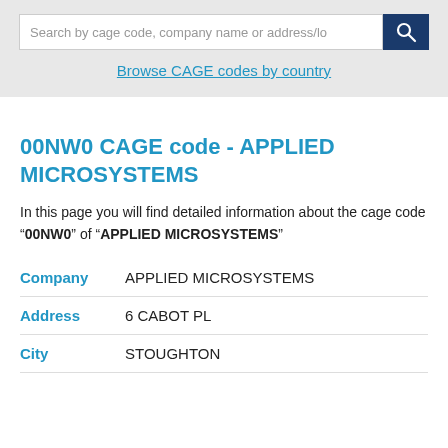Search by cage code, company name or address/lo
Browse CAGE codes by country
00NW0 CAGE code - APPLIED MICROSYSTEMS
In this page you will find detailed information about the cage code “00NW0” of “APPLIED MICROSYSTEMS”
| Field | Value |
| --- | --- |
| Company | APPLIED MICROSYSTEMS |
| Address | 6 CABOT PL |
| City | STOUGHTON |